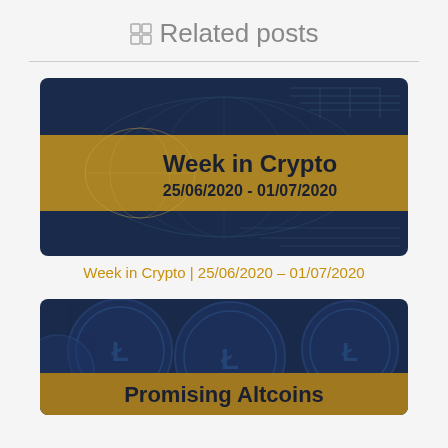Related posts
[Figure (illustration): Crypto-themed banner with dark navy background showing world map and circuit patterns, with a gold horizontal band in the middle displaying bold text: 'Week in Crypto' and '25/06/2020 - 01/07/2020']
Week in Crypto | 25/06/2020 – 01/07/2020
[Figure (illustration): Dark navy banner showing cryptocurrency coins (Litecoin, etc.) in the background, with a gold horizontal band at the bottom displaying bold text: 'Promising Altcoins' (partially visible)]